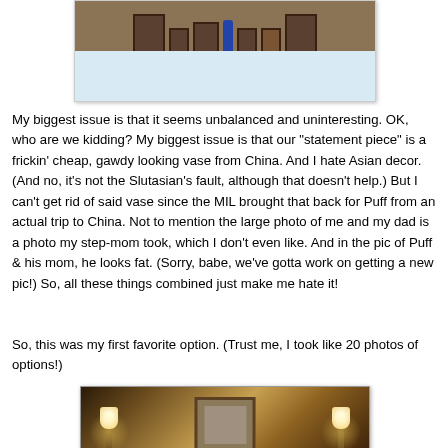[Figure (photo): Photo of a fireplace mantle with picture frames and a decorative vase, painted light blue/white]
My biggest issue is that it seems unbalanced and uninteresting. OK, who are we kidding? My biggest issue is that our "statement piece" is a frickin' cheap, gawdy looking vase from China. And I hate Asian decor. (And no, it's not the Slutasian's fault, although that doesn't help.) But I can't get rid of said vase since the MIL brought that back for Puff from an actual trip to China. Not to mention the large photo of me and my dad is a photo my step-mom took, which I don't even like. And in the pic of Puff & his mom, he looks fat. (Sorry, babe, we've gotta work on getting a new pic!) So, all these things combined just make me hate it!
So, this was my first favorite option. (Trust me, I took like 20 photos of options!)
[Figure (photo): Photo of a room with two wall sconce lamps and a framed picture in the center, warm golden lighting]